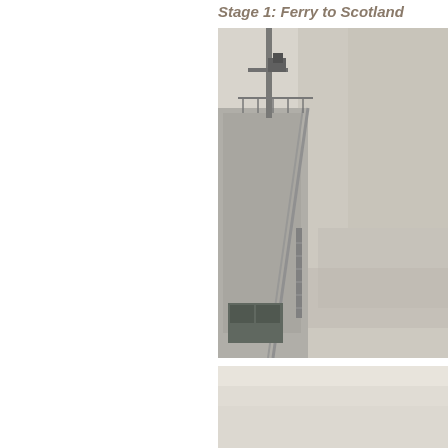Stage 1: Ferry to Scotland
[Figure (photo): Black and white photograph looking up at the superstructure and mast of a large ferry vessel against an overcast grey sky. The ship's bridge, radar equipment, and railings are visible.]
[Figure (photo): Second photograph, partially visible at bottom of page, showing a pale/cream colored background — appears to be continuation of ferry scene.]